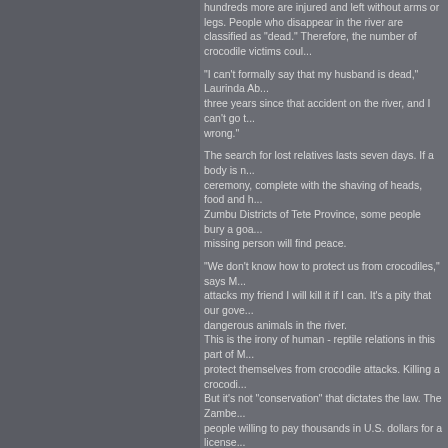hundreds more are injured and left without arms or legs. People who disappear in the river are classified as 'dead.' Therefore, the number of crocodile victims could be much higher.
"I can't formally say that my husband is dead," Laurinda Ab... three years since that accident on the river, and I can't go to wrong."
The search for lost relatives lasts seven days. If a body is not found, a ceremony, complete with the shaving of heads, food and... Zumbu Districts of Tete Province, some people bury a goat... missing person will find peace.
"We don't know how to protect us from crocodiles," says M... attacks my friend I will kill it if I can. It's a pity that our gove... dangerous animals in the river. This is the irony of human - reptile relations in this part of M... protect themselves from crocodile attacks. Killing a crocodi... But it's not "conservation" that dictates the law. The Zambe... people willing to pay thousands in U.S. dollars for a license... the unbalanced battle between humans and crocodiles in T... favored are.
Photo documentary by TCI Emerging Photographer Vlad S... http://www.vladsokhin.com
Human Market Place | Migrant Workers in Isra...
The population of foreign workers in Israel now numbers ab... in the country. 100 000 foreign workers are legally in the co... Workers staying in Israel illegally, usually arrive in Israel as... Israel with permits and stayed to work even after the visa o...
Many Western countries, work permits and provide a limite... force. Work visas are always temporary and always intende... a different approach regarding the treatment of illegal worko... families or access to the conversation and collaboration wi... of work visas every year lag according to the economy and...
Most employers decide to hire foreign workers for cheap la... Most workers live in apartments, unless the long-term care... employer wants to hire an Israeli worker, would have to pay... in which employees of foreign workers, are less wanted to... building and hiring...